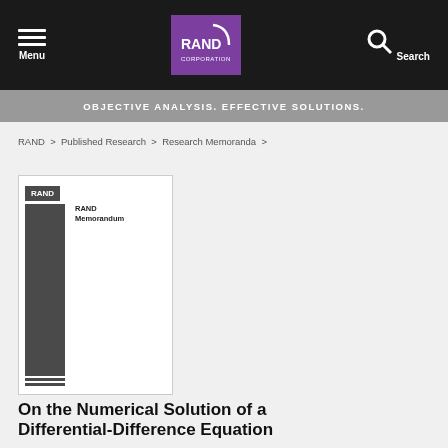Menu | RAND Corporation | Search
OBJECTIVE ANALYSIS. EFFECTIVE SOLUTIONS.
RAND > Published Research > Research Memoranda >
[Figure (illustration): RAND Memorandum document cover thumbnail showing RAND logo bar at top, dark grey vertical sidebar, and text 'RAND Memorandum' in the white area]
On the Numerical Solution of a Differential-Difference Equation